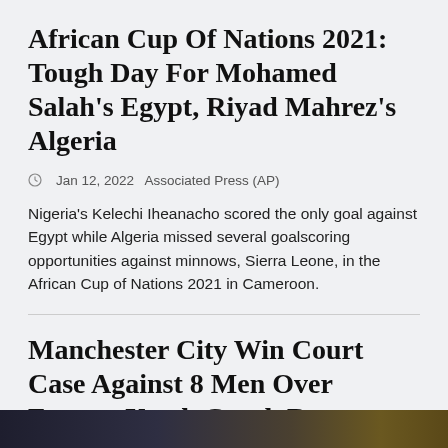African Cup Of Nations 2021: Tough Day For Mohamed Salah's Egypt, Riyad Mahrez's Algeria
Jan 12, 2022   Associated Press (AP)
Nigeria's Kelechi Iheanacho scored the only goal against Egypt while Algeria missed several goalscoring opportunities against minnows, Sierra Leone, in the African Cup of Nations 2021 in Cameroon.
Manchester City Win Court Case Against 8 Men Over Former Youth Coach Barry Bennell's Abuse Case
Former Manchester City youth coach Barry Bennell is serving a 34-year prison term for sexually abusing boys. He was convicted of sexually abusing boys on five separate occasions.
[Figure (photo): Dark partial image strip at the bottom of the page, showing a dark background with some amber/gold tones.]